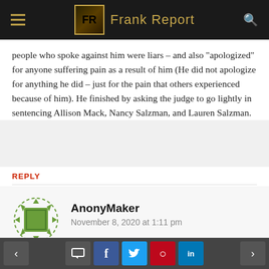Frank Report
people who spoke against him were liars – and also “apologized” for anyone suffering pain as a result of him (He did not apologize for anything he did – just for the pain that others experienced because of him). He finished by asking the judge to go lightly in sentencing Allison Mack, Nancy Salzman, and Lauren Salzman.
REPLY
AnonyMaker
November 8, 2020 at 1:11 pm
[Figure (illustration): Avatar icon for AnonyMaker commenter — circular dashed border with green square in center]
< [comment] [f] [t] [p] [in] >